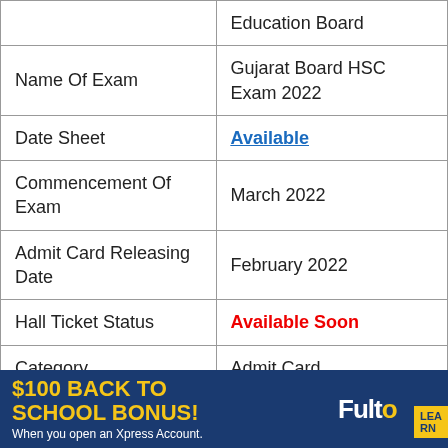|  | Education Board |
| Name Of Exam | Gujarat Board HSC Exam 2022 |
| Date Sheet | Available |
| Commencement Of Exam | March 2022 |
| Admit Card Releasing Date | February 2022 |
| Hall Ticket Status | Available Soon |
| Category | Admit Card |
[Figure (other): Advertisement banner: '$100 BACK TO SCHOOL BONUS! When you open an Xpress Account.' with Fulton Bank logo and Learn More button]